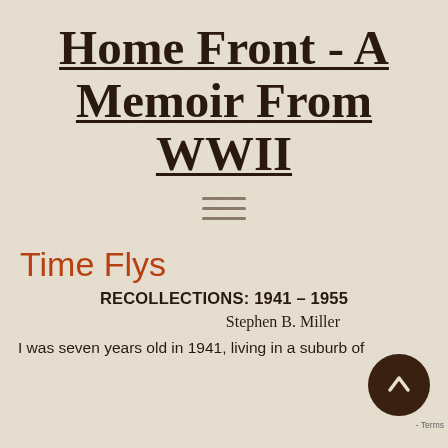Home Front - A Memoir From WWII
[Figure (other): Hamburger/navigation menu icon (three horizontal lines)]
Time Flys
RECOLLECTIONS: 1941 – 1955
Stephen B. Miller
I was seven years old in 1941, living in a suburb of